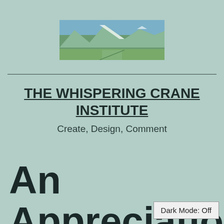[Figure (photo): Landscape photograph showing mountains with snow-capped peaks, green valley, and road in foreground]
THE WHISPERING CRANE INSTITUTE
Create, Design, Comment
An Appreciatio…